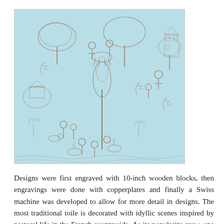[Figure (illustration): Toile de Jouy fabric pattern featuring pastoral scenes with figures, animals, trees, and countryside vignettes printed in brown/tan on a light blue background.]
Designs were first engraved with 10-inch wooden blocks, then engravings were done with copperplates and finally a Swiss machine was developed to allow for more detail in designs. The most traditional toile is decorated with idyllic scenes inspired by pastoral life in the French countryside. As its popularity grew, one might have seen images of Greek and Roman mythology, themes surrounding children or depictions of famous Americans such as Ben Franklin and